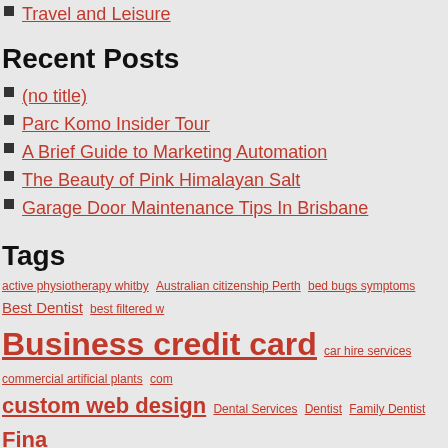Travel and Leisure
Recent Posts
(no title)
Parc Komo Insider Tour
A Brief Guide to Marketing Automation
The Beauty of Pink Himalayan Salt
Garage Door Maintenance Tips In Brisbane
Tags
active physiotherapy whitby Australian citizenship Perth bed bugs symptoms Best Dentist best filtered w... Business credit card car hire services commercial artificial plants com... custom web design Dental Services Dentist Family Dentist Fina... orthotics General Dentistry hanging indoor artificial plants home loan mortgage Im... luxury car hire massage therapy near me Mortgage Broker Mortgage Loan mortgage loans necessity of... Personal Credit Card physiotherapist in... ajax physiotherapy oshawa remedial massage therapist Re...